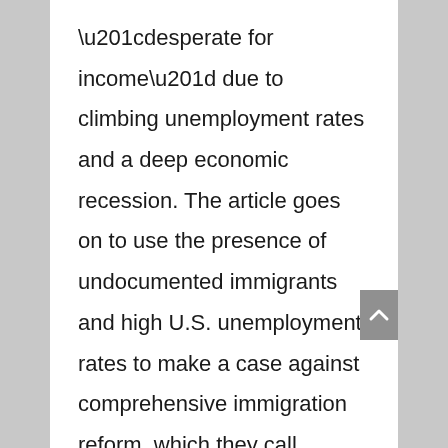“desperate for income” due to climbing unemployment rates and a deep economic recession. The article goes on to use the presence of undocumented immigrants and high U.S. unemployment rates to make a case against comprehensive immigration reform, which they call “amnesty”—a term anti-immigrants groups commonly use to avoid reasoned debate on what to do about our broken and outdated American immigration